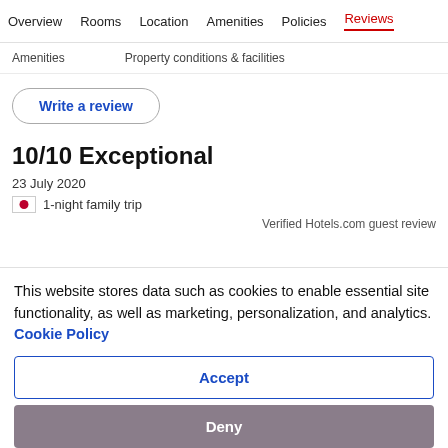Overview  Rooms  Location  Amenities  Policies  Reviews
Amenities    Property conditions & facilities
Write a review
10/10 Exceptional
23 July 2020
1-night family trip
Verified Hotels.com guest review
This website stores data such as cookies to enable essential site functionality, as well as marketing, personalization, and analytics. Cookie Policy
Accept
Deny